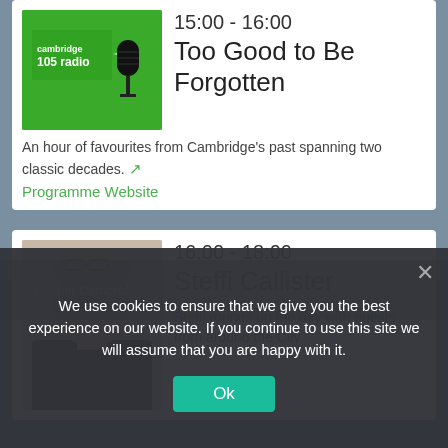[Figure (screenshot): Cambridge 105 Radio microphone with green background logo]
15:00 - 16:00
Too Good to Be Forgotten
An hour of favourites from Cambridge's past spanning two classic decades. 🔗
Programme Website
[Figure (photo): Steffi Callister - blonde woman in black jacket]
16:00 - 18:00
Steffi Callister
Steffi rounds up the day with guests from around the City
and South Cambridgeshire
We use cookies to ensure that we give you the best experience on our website. If you continue to use this site we will assume that you are happy with it.
Ok